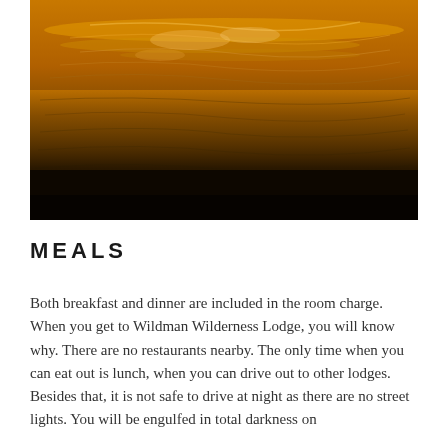[Figure (photo): A dark sunset or sunrise photograph of water surface reflecting golden-orange light, with rippling waves. The top portion shows warm amber/golden reflections on the water, transitioning to darker water in the lower half.]
MEALS
Both breakfast and dinner are included in the room charge. When you get to Wildman Wilderness Lodge, you will know why. There are no restaurants nearby. The only time when you can eat out is lunch, when you can drive out to other lodges. Besides that, it is not safe to drive at night as there are no street lights. You will be engulfed in total darkness on